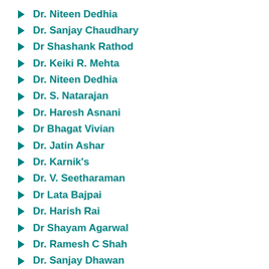Dr. Niteen Dedhia
Dr. Sanjay Chaudhary
Dr Shashank Rathod
Dr. Keiki R. Mehta
Dr. Niteen Dedhia
Dr. S. Natarajan
Dr. Haresh Asnani
Dr Bhagat Vivian
Dr. Jatin Ashar
Dr. Karnik's
Dr. V. Seetharaman
Dr Lata Bajpai
Dr. Harish Rai
Dr Shayam Agarwal
Dr. Ramesh C Shah
Dr. Sanjay Dhawan